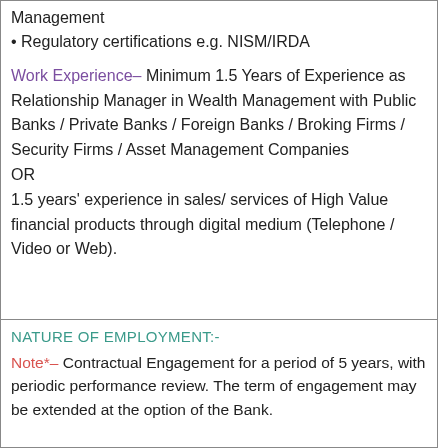Management
• Regulatory certifications e.g. NISM/IRDA
Work Experience– Minimum 1.5 Years of Experience as Relationship Manager in Wealth Management with Public Banks / Private Banks / Foreign Banks / Broking Firms / Security Firms / Asset Management Companies OR 1.5 years' experience in sales/ services of High Value financial products through digital medium (Telephone / Video or Web).
NATURE OF EMPLOYMENT:-
Note*– Contractual Engagement for a period of 5 years, with periodic performance review. The term of engagement may be extended at the option of the Bank.